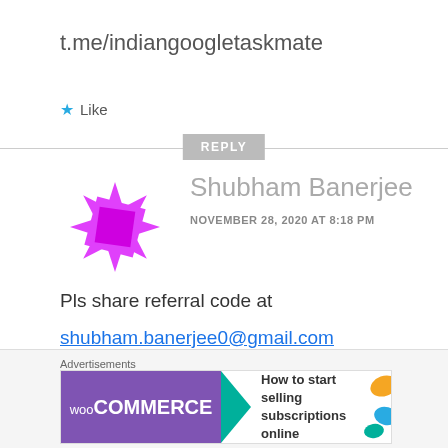t.me/indiangoogletaskmate
★ Like
REPLY
[Figure (illustration): Magenta/pink spiky star-burst avatar icon for user Shubham Banerjee]
Shubham Banerjee
NOVEMBER 28, 2020 AT 8:18 PM
Pls share referral code at
shubham.banerjee0@gmail.com
Advertisements
[Figure (other): WooCommerce advertisement banner: purple background with WooCommerce logo, teal arrow, text 'How to start selling subscriptions online', orange and teal decorative shapes on right]